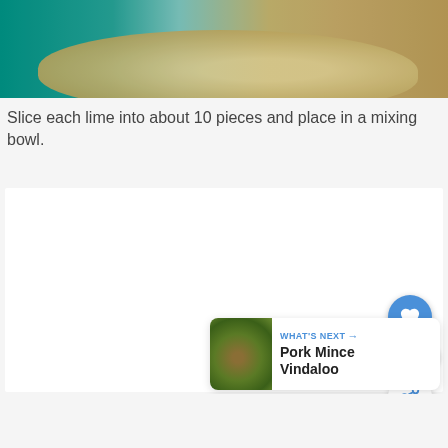[Figure (photo): Top portion of a food photo showing a mixing bowl with teal/turquoise background and a woven/wooden bowl edge visible]
Slice each lime into about 10 pieces and place in a mixing bowl.
[Figure (photo): White content area - second step image placeholder (mostly white/light)]
[Figure (infographic): UI overlay with heart/like button (blue circle, 225 count), share button, and 'WHAT'S NEXT → Pork Mince Vindaloo' card with food thumbnail]